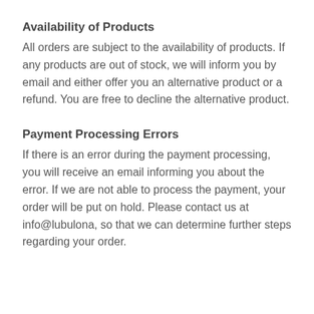Availability of Products
All orders are subject to the availability of products. If any products are out of stock, we will inform you by email and either offer you an alternative product or a refund. You are free to decline the alternative product.
Payment Processing Errors
If there is an error during the payment processing, you will receive an email informing you about the error. If we are not able to process the payment, your order will be put on hold. Please contact us at info@lubulona, so that we can determine further steps regarding your order.